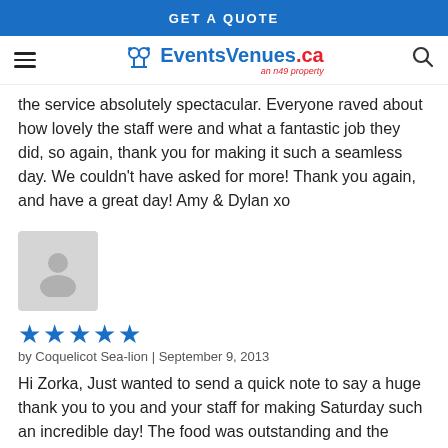GET A QUOTE
[Figure (logo): EventsVenues.ca logo with champagne glasses icon and 'an n49 property' tagline]
the service absolutely spectacular. Everyone raved about how lovely the staff were and what a fantastic job they did, so again, thank you for making it such a seamless day. We couldn't have asked for more! Thank you again, and have a great day! Amy & Dylan xo
[Figure (photo): Generic grey silhouette avatar placeholder image]
★★★★★
by Coquelicot Sea-lion | September 9, 2013
Hi Zorka, Just wanted to send a quick note to say a huge thank you to you and your staff for making Saturday such an incredible day! The food was outstanding and the service absolutely spectacular. Everyone raved about how lovely the staff were and what a fantastic job they